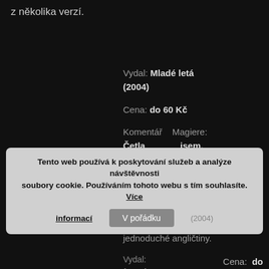z několika verzí.
Vydal: Mladé letá (2004)
Cena: do 60 Kč
Komentář Magiere: Četla jsem, vhodné pro trochu pokročilejší začátečníky.
Klasický příběh Draculy převyprávěný do jednoduché angličtiny.
Vydal: (2004)
Cena: do
Tento web používá k poskytování služeb a analýze návštěvnosti soubory cookie. Používáním tohoto webu s tím souhlasíte. Více informací V pořádku